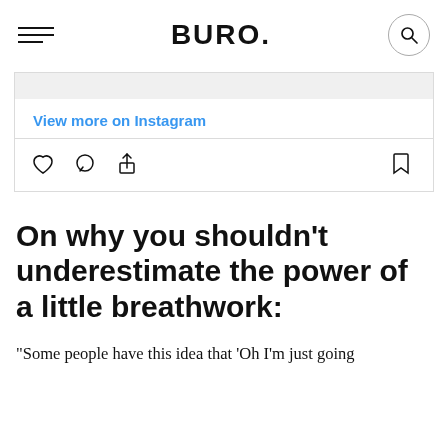BURO.
[Figure (screenshot): Instagram embed widget showing 'View more on Instagram' link in blue, a grey top bar, a horizontal divider, and action icons (heart, comment, share on left; bookmark on right)]
On why you shouldn't underestimate the power of a little breathwork:
"Some people have this idea that 'Oh I'm just going